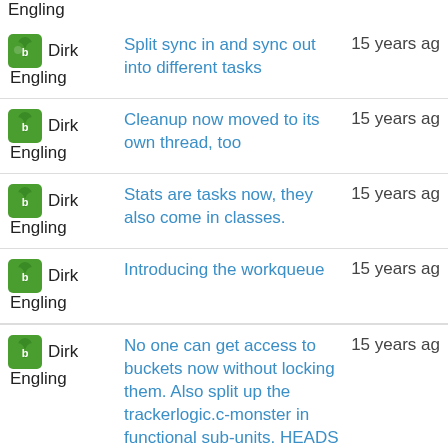Engling
Dirk Engling | Split sync in and sync out into different tasks | 15 years ago
Dirk Engling | Cleanup now moved to its own thread, too | 15 years ago
Dirk Engling | Stats are tasks now, they also come in classes. | 15 years ago
Dirk Engling | Introducing the workqueue | 15 years ago
Dirk Engling | No one can get access to buckets now without locking them. Also split up the trackerlogic.c-monster in functional sub-units. HEADS UP: this code is untested and not | 15 years ago